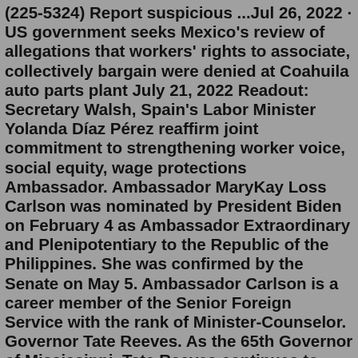(225-5324) Report suspicious ...Jul 26, 2022 · US government seeks Mexico's review of allegations that workers' rights to associate, collectively bargain were denied at Coahuila auto parts plant July 21, 2022 Readout: Secretary Walsh, Spain's Labor Minister Yolanda Díaz Pérez reaffirm joint commitment to strengthening worker voice, social equity, wage protections Ambassador. Ambassador MaryKay Loss Carlson was nominated by President Biden on February 4 as Ambassador Extraordinary and Plenipotentiary to the Republic of the Philippines. She was confirmed by the Senate on May 5. Ambassador Carlson is a career member of the Senior Foreign Service with the rank of Minister-Counselor. Governor Tate Reeves. As the 65th Governor of Mississippi, Tate Reeves continues to build on his strong record as a conservative leader who fights to guard taxpayers' dollars, improve educational opportunity, and grow new careers so that our state's best and brightest can raise their families and thrive here at home.Ambassador. Ambassador Lisa Kenna is